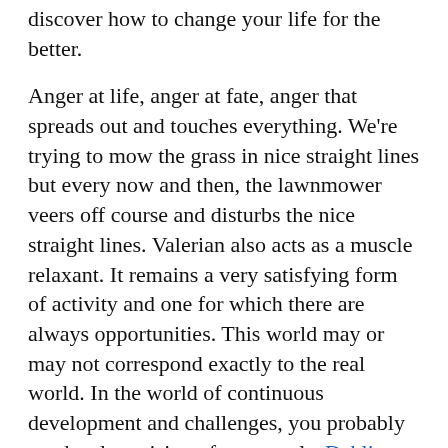discover how to change your life for the better.
Anger at life, anger at fate, anger that spreads out and touches everything. We're trying to mow the grass in nice straight lines but every now and then, the lawnmower veers off course and disturbs the nice straight lines. Valerian also acts as a muscle relaxant. It remains a very satisfying form of activity and one for which there are always opportunities. This world may or may not correspond exactly to the real world. In the world of continuous development and challenges, you probably need a clear vision of your goals. Dahlia Designs [external link] will guide you on your way to reach the life you want.
That said, if you're in a foreign country where there's a real question of potability, buy bottled water to be safe from pathogens. Your judgments are also arising in awareness. abreast of her teenage children's academic performance.